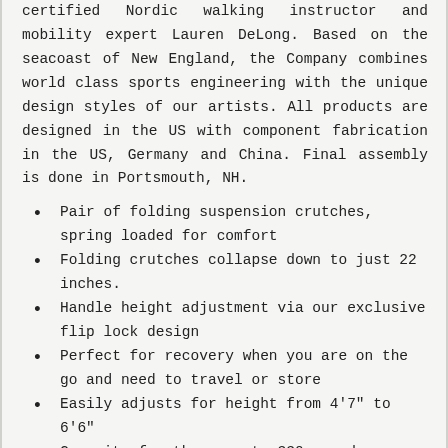certified Nordic walking instructor and mobility expert Lauren DeLong. Based on the seacoast of New England, the Company combines world class sports engineering with the unique design styles of our artists. All products are designed in the US with component fabrication in the US, Germany and China. Final assembly is done in Portsmouth, NH.
Pair of folding suspension crutches, spring loaded for comfort
Folding crutches collapse down to just 22 inches.
Handle height adjustment via our exclusive flip lock design
Perfect for recovery when you are on the go and need to travel or store
Easily adjusts for height from 4'7" to 6'6"
Capacity for those up to 330 pounds